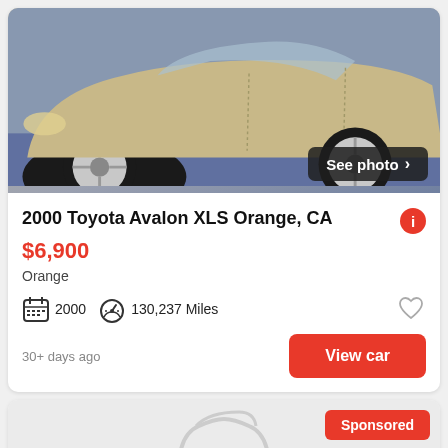[Figure (photo): Photo of a gold/champagne colored Toyota Avalon sedan, front-side angle view, with a 'See photo >' button overlay in the bottom right corner]
2000 Toyota Avalon XLS Orange, CA
$6,900
Orange
2000   130,237 Miles
30+ days ago
View car
[Figure (photo): Placeholder car icon (no photo available) with 'Sponsored' badge and 'See photo >' button overlay]